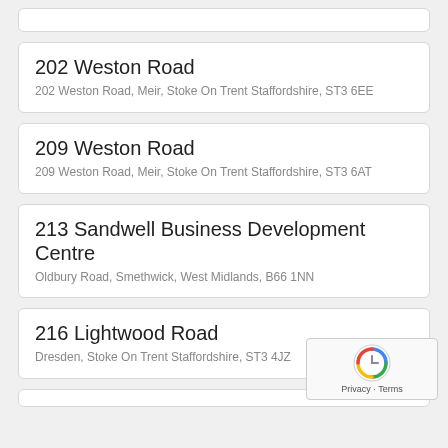202 Weston Road
202 Weston Road, Meir, Stoke On Trent Staffordshire, ST3 6EE
209 Weston Road
209 Weston Road, Meir, Stoke On Trent Staffordshire, ST3 6AT
213 Sandwell Business Development Centre
Oldbury Road, Smethwick, West Midlands, B66 1NN
216 Lightwood Road
Dresden, Stoke On Trent Staffordshire, ST3 4JZ